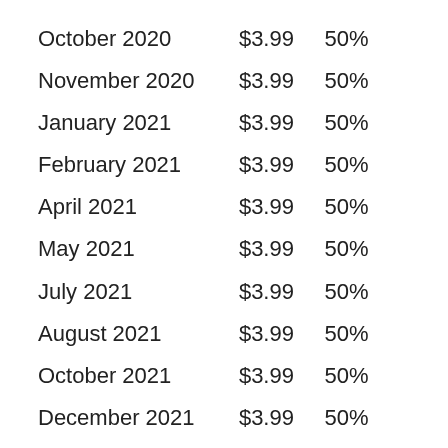| October 2020 | $3.99 | 50% |
| November 2020 | $3.99 | 50% |
| January 2021 | $3.99 | 50% |
| February 2021 | $3.99 | 50% |
| April 2021 | $3.99 | 50% |
| May 2021 | $3.99 | 50% |
| July 2021 | $3.99 | 50% |
| August 2021 | $3.99 | 50% |
| October 2021 | $3.99 | 50% |
| December 2021 | $3.99 | 50% |
| February 2022 | $3.99 | 50% |
| April 2022 | $3.99 | 50% |